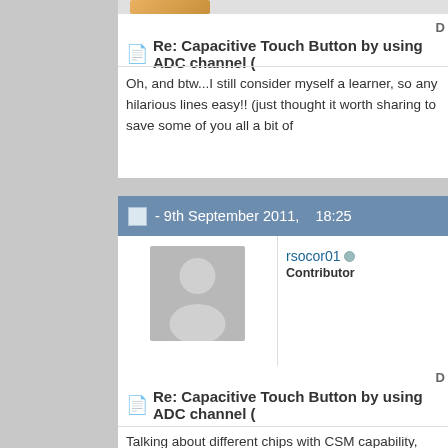Re: Capacitive Touch Button by using ADC channel (
Oh, and btw...I still consider myself a learner, so any hilarious lines easy!! (just thought it worth sharing to save some of you all a bit of
- 9th September 2011,    18:25
rsocor01
Contributor
Re: Capacitive Touch Button by using ADC channel (
Talking about different chips with CSM capability, lately I have been have more programming memory than the chip mentioned above, programming memory in my projects with the 16F727.